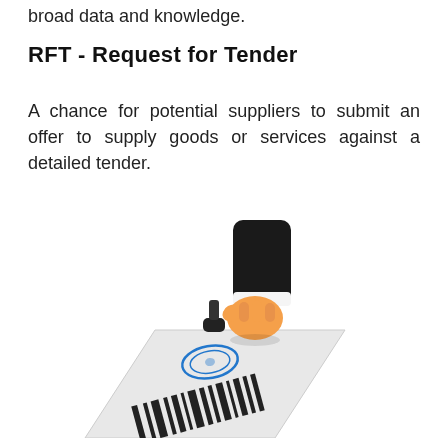broad data and knowledge.
RFT - Request for Tender
A chance for potential suppliers to submit an offer to supply goods or services against a detailed tender.
[Figure (illustration): Isometric illustration of a hand in a business suit sleeve holding a rubber stamp and stamping a document that has a barcode and a blue circular seal/stamp impression.]